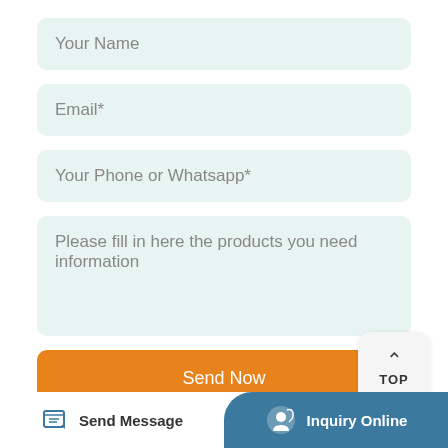Your Name
Email*
Your Phone or Whatsapp*
Please fill in here the products you need information
[Figure (other): TOP scroll-to-top button with upward chevron arrow]
Send Now
[Figure (other): Bottom navigation bar with Send Message (left) and Inquiry Online (right, blue background)]